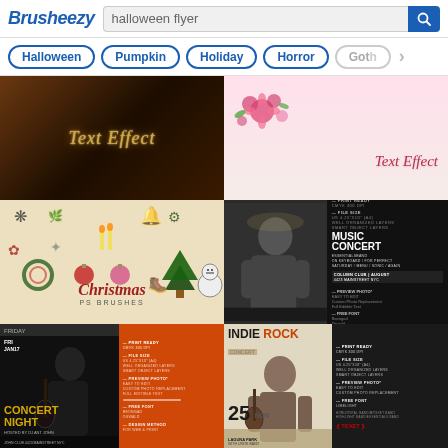Brusheezy — halloween flyer search
Halloween
Pumpkin
Holiday
Horror
Goth
[Figure (screenshot): Dark brown/orange background with gold italic 'Text Effect' text overlay]
[Figure (screenshot): Light pink background with flowers decoration and pink italic 'Text Effect' text]
[Figure (screenshot): Vintage beige background with Christmas PS Brushes set showing various holiday illustrations including bells, holly, snowman, Christmas tree]
[Figure (screenshot): Music Concert flyer template showing performer photo on left, dark background with MUSIC CONCERT text and ESSENTIALSBAND details, COLUMN CLUB AUGUST venue info]
[Figure (screenshot): Concert Night flyer template with dark left side showing performer with guitar, orange right side with date info FRIDAY JAN17, CONCERT NIGHT text in yellow]
[Figure (screenshot): Indie Rock flyer template showing performer, vintage style with INDIE ROCK title, date 25 NOV, LAGUNA PARK venue, UNITE BAND info]